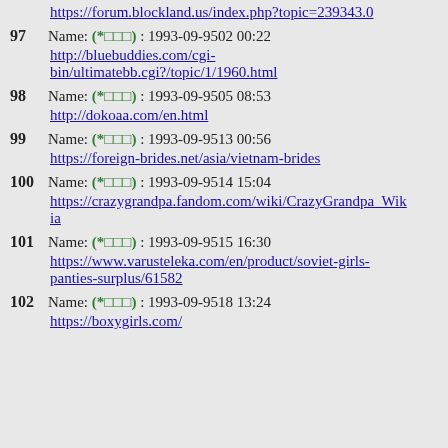https://forum.blockland.us/index.php?topic=239343.0
97  Name: (*□□□) : 1993-09-9502 00:22
http://bluebuddies.com/cgi-bin/ultimatebb.cgi?/topic/1/1960.html
98  Name: (*□□□) : 1993-09-9505 08:53
http://dokoaa.com/en.html
99  Name: (*□□□) : 1993-09-9513 00:56
https://foreign-brides.net/asia/vietnam-brides
100  Name: (*□□□) : 1993-09-9514 15:04
https://crazygrandpa.fandom.com/wiki/CrazyGrandpa_Wikia
101  Name: (*□□□) : 1993-09-9515 16:30
https://www.varusteleka.com/en/product/soviet-girls-panties-surplus/61582
102  Name: (*□□□) : 1993-09-9518 13:24
https://boxygirls.com/